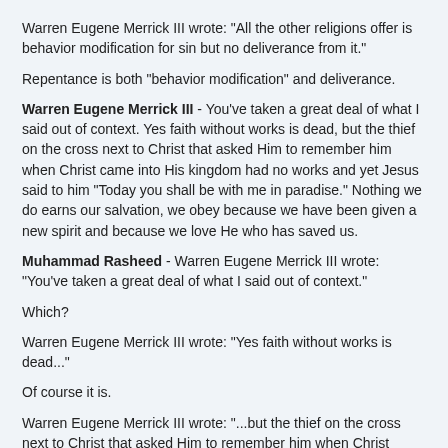Warren Eugene Merrick III wrote: "All the other religions offer is behavior modification for sin but no deliverance from it."
Repentance is both "behavior modification" and deliverance.
Warren Eugene Merrick III - You've taken a great deal of what I said out of context. Yes faith without works is dead, but the thief on the cross next to Christ that asked Him to remember him when Christ came into His kingdom had no works and yet Jesus said to him "Today you shall be with me in paradise." Nothing we do earns our salvation, we obey because we have been given a new spirit and because we love He who has saved us.
Muhammad Rasheed - Warren Eugene Merrick III wrote: "You've taken a great deal of what I said out of context."
Which?
Warren Eugene Merrick III wrote: "Yes faith without works is dead..."
Of course it is.
Warren Eugene Merrick III wrote: "...but the thief on the cross next to Christ that asked Him to remember him when Christ came into His kingdom had no works and yet Jesus said to him "Today you shall be with me in paradise.'"
It was also a story that was simply made up by the evangelist's speech